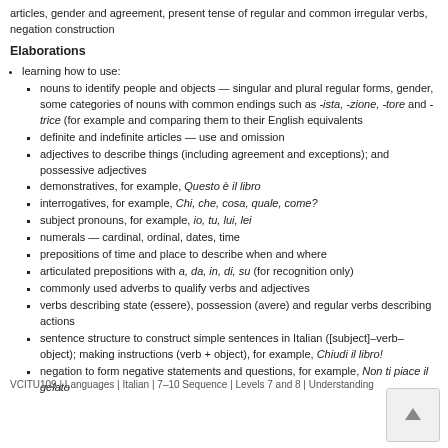articles, gender and agreement, present tense of regular and common irregular verbs, negation construction
Elaborations
learning how to use:
nouns to identify people and objects — singular and plural regular forms, gender, some categories of nouns with common endings such as -ista, -zione, -tore and -trice (for example) and comparing them to their English equivalents
definite and indefinite articles — use and omission
adjectives to describe things (including agreement and exceptions); and possessive adjectives
demonstratives, for example, Questo è il libro
interrogatives, for example, Chi, che, cosa, quale, come?
subject pronouns, for example, io, tu, lui, lei
numerals — cardinal, ordinal, dates, time
prepositions of time and place to describe when and where
articulated prepositions with a, da, in, di, su (for recognition only)
commonly used adverbs to qualify verbs and adjectives
verbs describing state (essere), possession (avere) and regular verbs describing actions
sentence structure to construct simple sentences in Italian ([subject]–verb–object); making instructions (verb + object), for example, Chiudi il libro!
negation to form negative statements and questions, for example, Non ti piace il gelato
VCITU109 | Languages | Italian | 7–10 Sequence | Levels 7 and 8 | Understanding